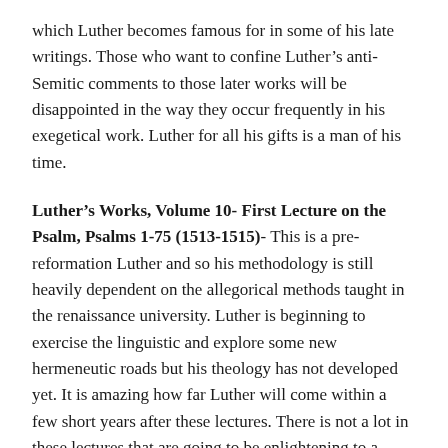which Luther becomes famous for in some of his late writings. Those who want to confine Luther's anti-Semitic comments to those later works will be disappointed in the way they occur frequently in his exegetical work. Luther for all his gifts is a man of his time.
Luther's Works, Volume 10- First Lecture on the Psalm, Psalms 1-75 (1513-1515)- This is a pre-reformation Luther and so his methodology is still heavily dependent on the allegorical methods taught in the renaissance university. Luther is beginning to exercise the linguistic and explore some new hermeneutic roads but his theology has not developed yet. It is amazing how far Luther will come within a few short years after these lectures. There is not a lot in these lectures that are going to be enlightening to a modern reading of the Psalms or that will shed much light on Luther's later theology. This is probably best used as a reference to understand where Luther's theology begins before it fully develops.